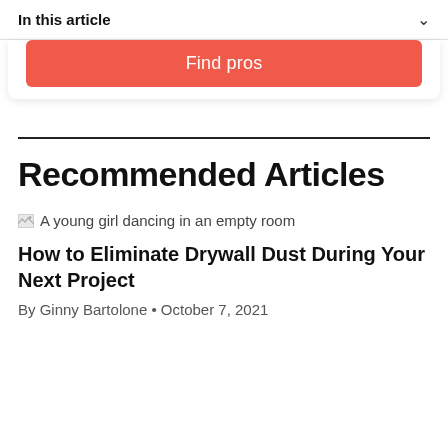In this article
[Figure (other): Find pros button – red/coral rounded button with white text]
Recommended Articles
[Figure (photo): A young girl dancing in an empty room (broken image placeholder)]
How to Eliminate Drywall Dust During Your Next Project
By Ginny Bartolone • October 7, 2021